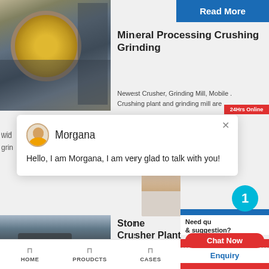[Figure (photo): Industrial mineral processing machinery with large yellow circular component and metal framework]
Read More
Mineral Processing Crushing Grinding
Newest Crusher, Grinding Mill, Mobile . Crushing plant and grinding mill are
24Hrs Online
wid
grin
[Figure (photo): Chat popup with avatar of Morgana]
Morgana
Hello, I am Morgana, I am very glad to talk with you!
[Figure (photo): Stone crusher plant mobile equipment at a quarry site]
Stone Crusher Plant
ZENITH. Shanghai
1
Need qu & suggestion?
Chat Now
Enquiry
limingjlmofen
HOME   PROUDCTS   CASES   limingjlmofen